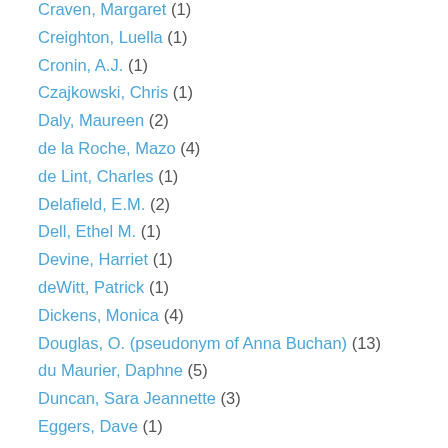Craven, Margaret (1)
Creighton, Luella (1)
Cronin, A.J. (1)
Czajkowski, Chris (1)
Daly, Maureen (2)
de la Roche, Mazo (4)
de Lint, Charles (1)
Delafield, E.M. (2)
Dell, Ethel M. (1)
Devine, Harriet (1)
deWitt, Patrick (1)
Dickens, Monica (4)
Douglas, O. (pseudonym of Anna Buchan) (13)
du Maurier, Daphne (5)
Duncan, Sara Jeannette (3)
Eggers, Dave (1)
Ellison, Harlan (1)
Estoril, Jean (1)
Fabre, D.G. (1)
Farjeon, Eleanor (1)